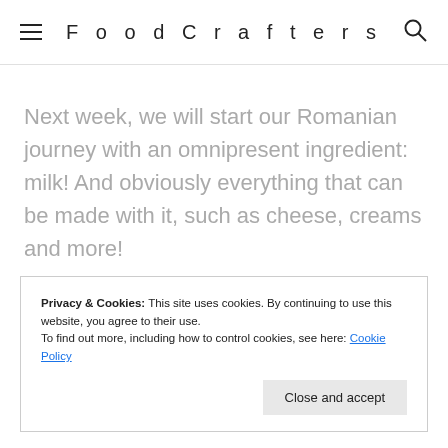FoodCrafters
Next week, we will start our Romanian journey with an omnipresent ingredient: milk! And obviously everything that can be made with it, such as cheese, creams and more!
Privacy & Cookies: This site uses cookies. By continuing to use this website, you agree to their use.
To find out more, including how to control cookies, see here: Cookie Policy